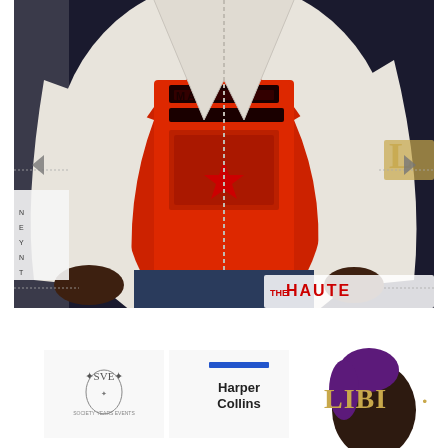[Figure (photo): A person wearing a white leather jacket open over a red graphic t-shirt with 'MANI' text visible, standing in front of an event backdrop. The photo shows the torso and lower face area. A 'HAUTE' magazine logo watermark is visible in the bottom right. Navigation arrows and dotted crop lines are overlaid on the image.]
[Figure (photo): A woman with dark hair and purple highlights at what appears to be a Harper Collins / LIBI event, with SVE (Society Years Events) branding visible on the step-and-repeat backdrop behind her.]